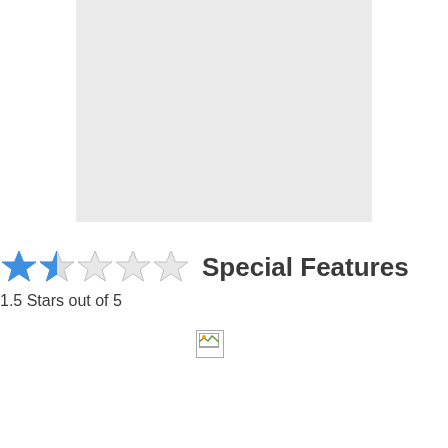[Figure (other): Gray placeholder rectangle]
★★☆☆☆ Special Features
1.5 Stars out of 5
[Figure (other): Broken/missing image icon]